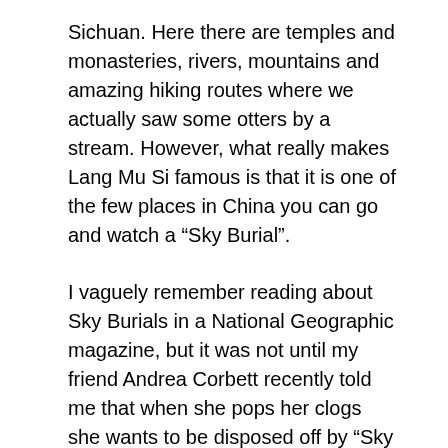Sichuan. Here there are temples and monasteries, rivers, mountains and amazing hiking routes where we actually saw some otters by a stream. However, what really makes Lang Mu Si famous is that it is one of the few places in China you can go and watch a “Sky Burial”.
I vaguely remember reading about Sky Burials in a National Geographic magazine, but it was not until my friend Andrea Corbett recently told me that when she pops her clogs she wants to be disposed off by “Sky Burial” that I gave it much thought. I am not sure the Derbyshire authorities allow bodies to be left on Kinder Scout and eaten by magpies and other birds that live in the Peak District, but on the Tibetan Plateau this is actually a common way for Buddhists to move on to where ever or what ever awaits them in the after life.